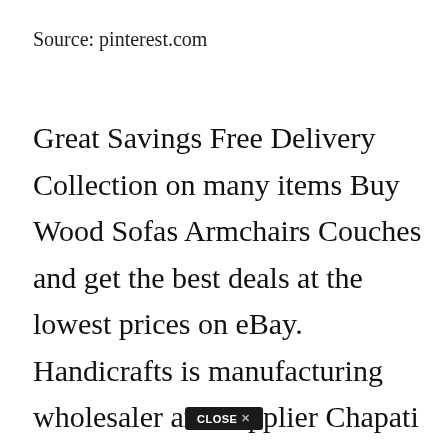Source: pinterest.com
Great Savings Free Delivery Collection on many items Buy Wood Sofas Armchairs Couches and get the best deals at the lowest prices on eBay. Handicrafts is manufacturing wholesaler and supplier Chapati Box Sofa Chair Wooden Bowl Wooden Spice Box etc. Here at Pepperfry we are committed to offering our customers the widest range in home furniture all to...